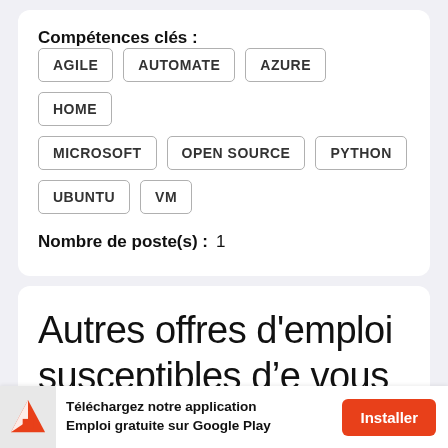Compétences clés :
AGILE
AUTOMATE
AZURE
HOME
MICROSOFT
OPEN SOURCE
PYTHON
UBUNTU
VM
Nombre de poste(s) :   1
Autres offres d'emploi susceptibles de vous
Téléchargez notre application Emploi gratuite sur Google Play
Installer